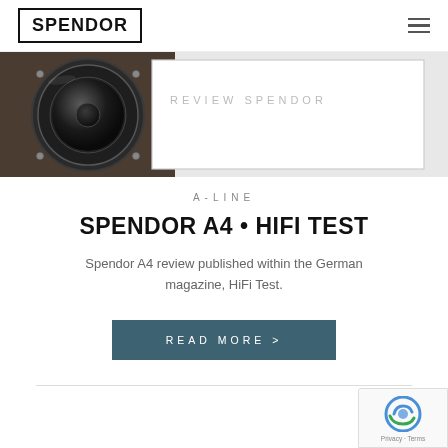SPENDOR
[Figure (photo): Close-up photo of a Spendor speaker driver/woofer with a decorative white card overlay on the right side showing partial text]
A-LINE
SPENDOR A4 • HIFI TEST
Spendor A4 review published within the German magazine, HiFi Test.
READ MORE >